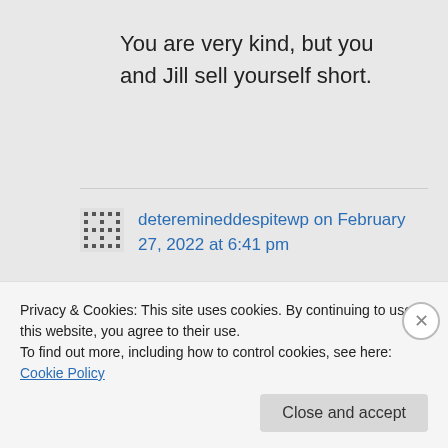You are very kind, but you and Jill sell yourself short.
deteremineddespitewp on February 27, 2022 at 6:41 pm
Thanks Keith. If I may speak for us both, we've got a little niche worked out for
Privacy & Cookies: This site uses cookies. By continuing to use this website, you agree to their use. To find out more, including how to control cookies, see here: Cookie Policy